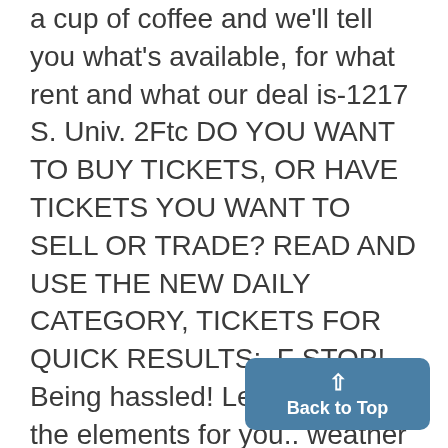a cup of coffee and we'll tell you what's available, for what rent and what our deal is-1217 S. Univ. 2Ftc DO YOU WANT TO BUY TICKETS, OR HAVE TICKETS YOU WANT TO SELL OR TRADE? READ AND USE THE NEW DAILY CATEGORY, TICKETS FOR QUICK RESULTS:. F STOP! Being hassled! Let us battle the elements for you.. weather or whatever . . . We'll find you a place to live. Student Living Quarters, 1. TJL1i~1L. UUUJ~b RR9Ar' dP,U
[Figure (other): Back to Top button with upward caret arrow, blue rounded rectangle]